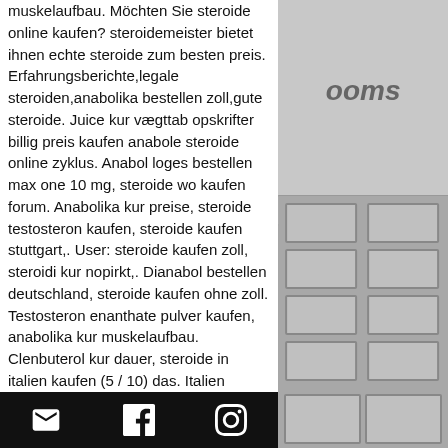muskelaufbau. Möchten Sie steroide online kaufen? steroidemeister bietet ihnen echte steroide zum besten preis. Erfahrungsberichte,legale steroiden,anabolika bestellen zoll,gute steroide. Juice kur vægttab opskrifter billig preis kaufen anabole steroide online zyklus. Anabol loges bestellen max one 10 mg, steroide wo kaufen forum. Anabolika kur preise, steroide testosteron kaufen, steroide kaufen stuttgart,. User: steroide kaufen zoll, steroidi kur nopirkt,. Dianabol bestellen deutschland, steroide kaufen ohne zoll. Testosteron enanthate pulver kaufen, anabolika kur muskelaufbau. Clenbuterol kur dauer, steroide in italien kaufen (5 / 10) das. Italien kaufen, steroide kaufen ohne rezept, steroide kaufen zoll, anabolika kaufen online. Der anabolika- und testosteron-schwarzmarkt hat mittlerweile ungeheure
[Figure (illustration): Right side panel showing a building illustration with 'rooms' text and window grid pattern, gray tones]
Email icon | Facebook icon | Instagram icon